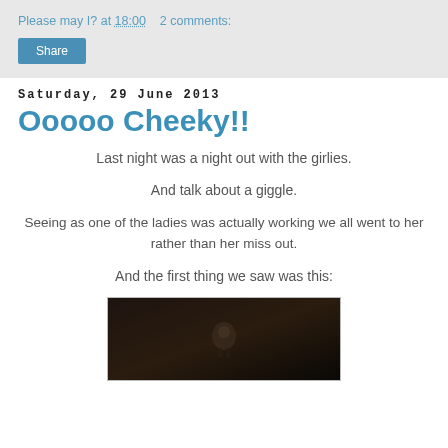Please may I? at 18:00   2 comments:
Share
Saturday, 29 June 2013
Ooooo Cheeky!!
Last night was a night out with the girlies.
And talk about a giggle.
Seeing as one of the ladies was actually working we all went to her rather than her miss out.
And the first thing we saw was this:
[Figure (photo): A dark photograph showing an object in a dimly lit room]